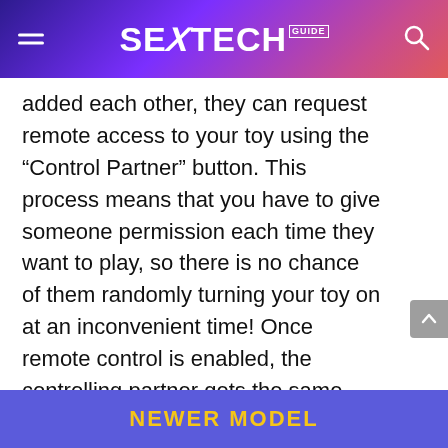SEXTECH GUIDE
added each other, they can request remote access to your toy using the “Control Partner” button. This process means that you have to give someone permission each time they want to play, so there is no chance of them randomly turning your toy on at an inconvenient time! Once remote control is enabled, the controlling partner gets the same screen as in the “Solo” mode, allowing them to change the toy’s setting and speed at a distance. Isn’t technology great?
NEWER MODEL